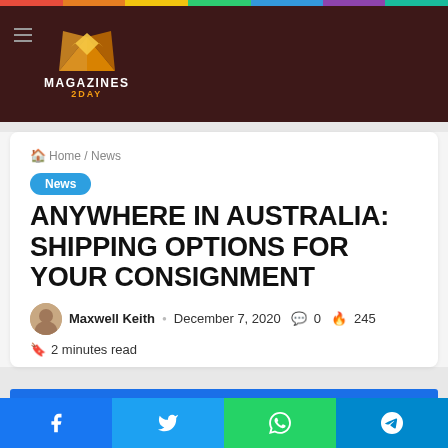Magazines2Day - Navigation header with logo
Home / News
News
ANYWHERE IN AUSTRALIA: SHIPPING OPTIONS FOR YOUR CONSIGNMENT
Maxwell Keith · December 7, 2020 · 0 · 245
2 minutes read
Social share bar: Facebook, Twitter, WhatsApp, Telegram